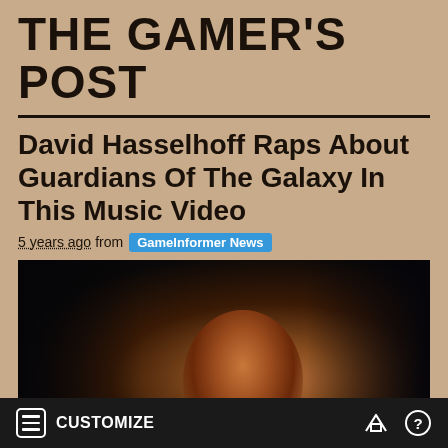THE GAMER'S POST
David Hasselhoff Raps About Guardians Of The Galaxy In This Music Video
5 years ago from GameInformer News
[Figure (photo): Dark film still of a male character with warm amber/orange face lighting against a very dark background, appearing to be from Guardians of the Galaxy film]
CUSTOMIZE